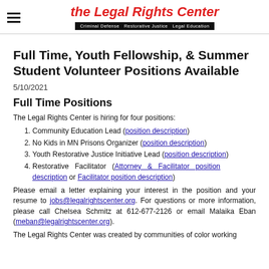the Legal Rights Center — Criminal Defense  Restorative Justice  Legal Education
Full Time, Youth Fellowship, & Summer Student Volunteer Positions Available
5/10/2021
Full Time Positions
The Legal Rights Center is hiring for four positions:
Community Education Lead (position description)
No Kids in MN Prisons Organizer (position description)
Youth Restorative Justice Initiative Lead (position description)
Restorative Facilitator (Attorney & Facilitator position description or Facilitator position description)
Please email a letter explaining your interest in the position and your resume to jobs@legalrightscenter.org. For questions or more information, please call Chelsea Schmitz at 612-677-2126 or email Malaika Eban (meban@legalrightscenter.org).
The Legal Rights Center was created by communities of color working